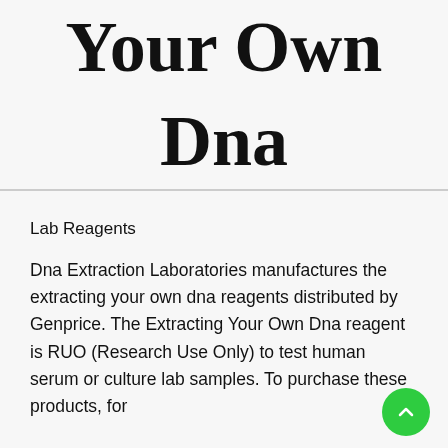Your Own Dna
Lab Reagents
Dna Extraction Laboratories manufactures the extracting your own dna reagents distributed by Genprice. The Extracting Your Own Dna reagent is RUO (Research Use Only) to test human serum or culture lab samples. To purchase these products, for